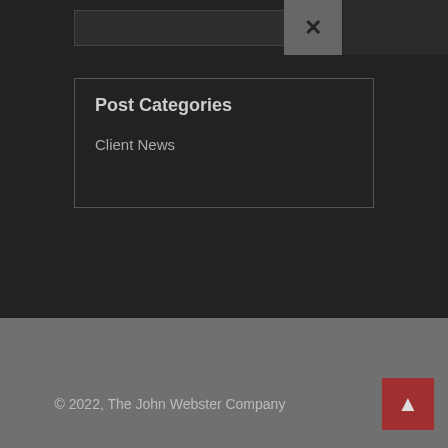[Figure (screenshot): Search bar input box with dark background]
[Figure (screenshot): Close (X) button in gray, positioned top right of search area]
Post Categories
Client News
© 2022, The John Webster Company
[Figure (other): Back to top arrow button in red]